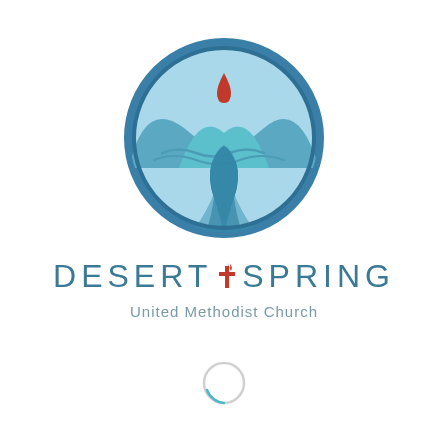[Figure (logo): Desert Spring United Methodist Church circular logo: teal-bordered circle with light blue background, stylized mountain range, winding teal river path, and a red teardrop/water drop above the mountains.]
DESERT  SPRING
United Methodist Church
[Figure (other): Small circular loading spinner partially visible, light teal arc on bottom-left, light gray remainder.]